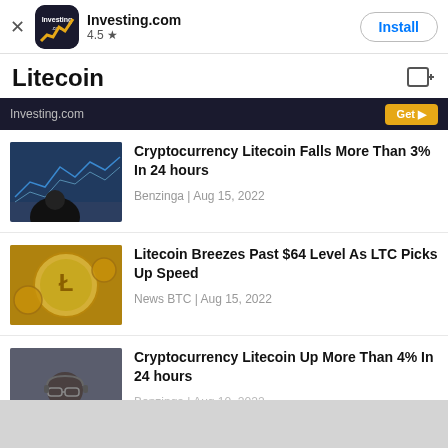[Figure (screenshot): Investing.com app install banner with logo, 4.5 star rating, and Install button]
Litecoin
[Figure (screenshot): Dark promo banner for Investing.com with orange Get button]
[Figure (photo): Photo of a trader looking at stock market screens]
Cryptocurrency Litecoin Falls More Than 3% In 24 hours
Benzinga | Aug 15, 2022
[Figure (photo): Photo of Litecoin silver coin with gold coins]
Litecoin Breezes Past $64 Level As LTC Picks Up Speed
News BTC | Aug 15, 2022
[Figure (photo): Photo of a man with glasses and headset]
Cryptocurrency Litecoin Up More Than 4% In 24 hours
Benzinga | Aug 10, 2022